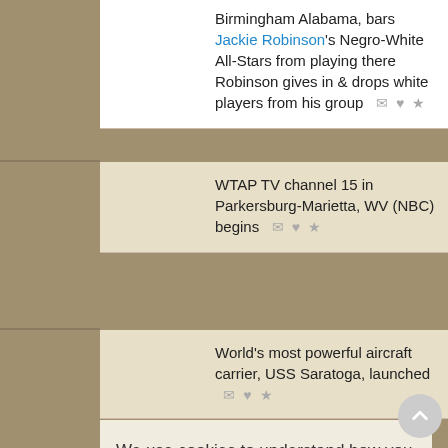1953 — Birmingham Alabama, bars Jackie Robinson's Negro-White All-Stars from playing there Robinson gives in & drops white players from his group
1953 — WTAP TV channel 15 in Parkersburg-Marietta, WV (NBC) begins
1955 — World's most powerful aircraft carrier, USS Saratoga, launched
We use cookies to understand how you use our site and to improve your experience. This includes personalizing content for you and for the display and tracking of advertising. By continuing to use our site, you accept and agree to our use of cookies. Privacy Policy